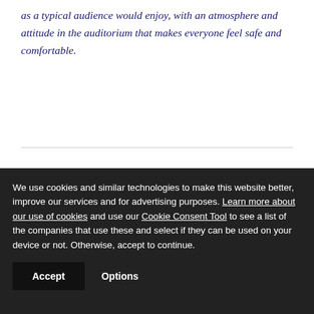as a typical audience would enjoy, with an atmosphere and attitude in the auditorium that makes everyone feel safe and comfortable.
[Figure (logo): Trustpilot rating showing 4.5 green stars and the Trustpilot logo with a green star icon]
We use cookies and similar technologies to make this website better, improve our services and for advertising purposes. Learn more about our use of cookies and use our Cookie Consent Tool to see a list of the companies that use these and select if they can be used on your device or not. Otherwise, accept to continue.